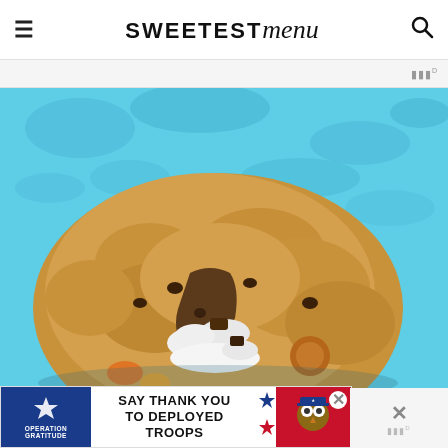SWEETEST menu
[Figure (photo): Close-up top-down view of a large stuffed/loaded cookie with marshmallow and chocolate filling oozing out, placed on a blue textured background. The cookie appears to be a s'mores or similar stuffed cookie, pulled apart slightly revealing the gooey interior.]
[Figure (photo): Advertisement banner at the bottom of the page for Operation Gratitude: 'SAY THANK YOU TO DEPLOYED TROOPS' with patriotic imagery including a star logo, American flags, and a cartoon owl in military gear.]